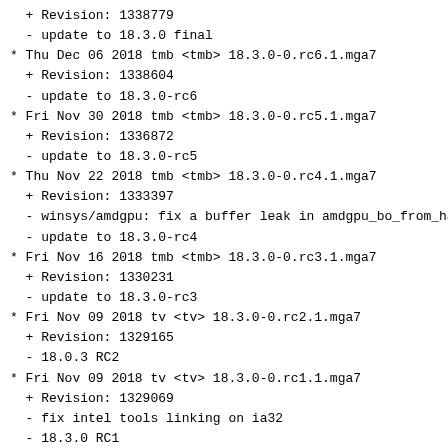+ Revision: 1338779
  - update to 18.3.0 final
* Thu Dec 06 2018 tmb <tmb> 18.3.0-0.rc6.1.mga7
  + Revision: 1338604
  - update to 18.3.0-rc6
* Fri Nov 30 2018 tmb <tmb> 18.3.0-0.rc5.1.mga7
  + Revision: 1336872
  - update to 18.3.0-rc5
* Thu Nov 22 2018 tmb <tmb> 18.3.0-0.rc4.1.mga7
  + Revision: 1333397
  - winsys/amdgpu: fix a buffer leak in amdgpu_bo_from_ha
  - update to 18.3.0-rc4
* Fri Nov 16 2018 tmb <tmb> 18.3.0-0.rc3.1.mga7
  + Revision: 1330231
  - update to 18.3.0-rc3
* Fri Nov 09 2018 tv <tv> 18.3.0-0.rc2.1.mga7
  + Revision: 1329165
  - 18.0.3 RC2
* Fri Nov 09 2018 tv <tv> 18.3.0-0.rc1.1.mga7
  + Revision: 1329069
  - fix intel tools linking on ia32
  - 18.3.0 RC1
* Wed Oct 31 2018 tmb <tmb> 18.2.4-1.mga7
  + Revision: 1327002
  - update to 18.2.4
* Fri Oct 19 2018 tv <tv> 18.2.3-1.mga7
  + Revision: 1322549
  - new release
* Fri Oct 05 2018 tmb <tmb> 18.2.2-1.mga7
  + Revision: 1317962